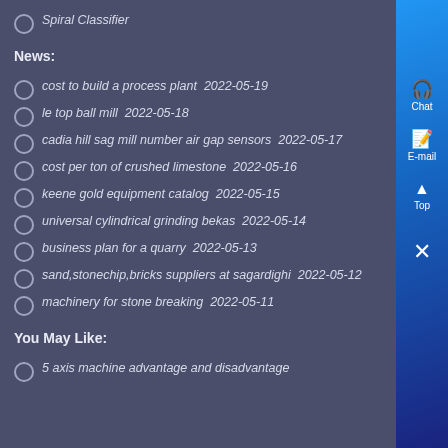Spiral Classifier
News:
cost to build a process plant  2022-05-19
le top ball mill  2022-05-18
cadia hill sag mill number air gap sensors  2022-05-17
cost per ton of crushed limestone  2022-05-16
keene gold equipment catalog  2022-05-15
universal cylindrical grinding bekas  2022-05-14
business plan for a quarry  2022-05-13
sand,stonechip,bricks suppliers at sagardighi  2022-05-12
machinery for stone breaking  2022-05-11
You May Like:
5 axis machine advantage and disadvantage